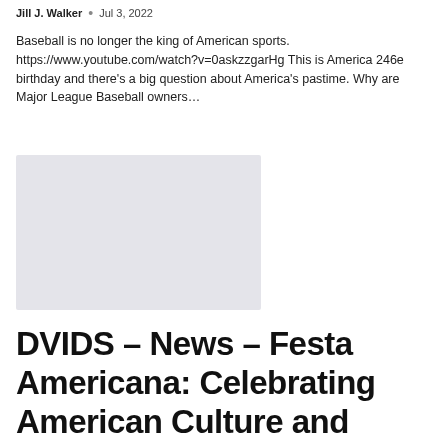Jill J. Walker • Jul 3, 2022
Baseball is no longer the king of American sports. https://www.youtube.com/watch?v=0askzzgarHg This is America 246e birthday and there's a big question about America's pastime. Why are Major League Baseball owners...
[Figure (photo): Light grey rectangular thumbnail/placeholder image for a video or article]
DVIDS – News – Festa Americana: Celebrating American Culture and History in Italy